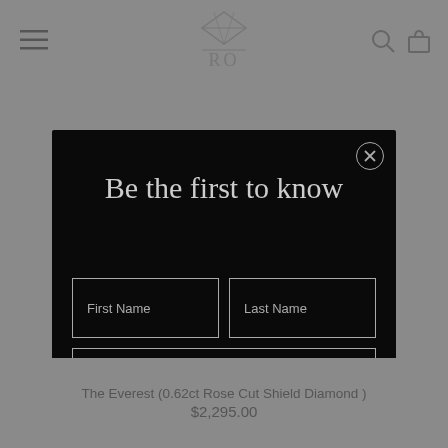[Figure (screenshot): Navigation bar with hamburger menu icon on left, jewelry brand logo (diamond icon above RO letters) in center, search and cart icons on right, shown on grey background]
[Figure (screenshot): Modal popup with dark/black background containing 'Be the first to know' heading, First Name and Last Name input fields side by side, Email input field, and Submit button]
Be the first to know
First Name
Last Name
Email
Submit
The Everest (0.62ct Rose Cut Shield Diamond )
$2,295.00